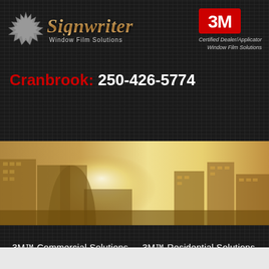[Figure (logo): Signwriter Window Film Solutions logo with starburst emblem and 3M Certified Dealer/Applicator Window Film Solutions logo on dark textured background]
Cranbrook: 250-426-5774
[Figure (photo): City skyline with golden sunlight illuminating commercial buildings]
3M™ Commercial Solutions
3M™ Residential Solutions